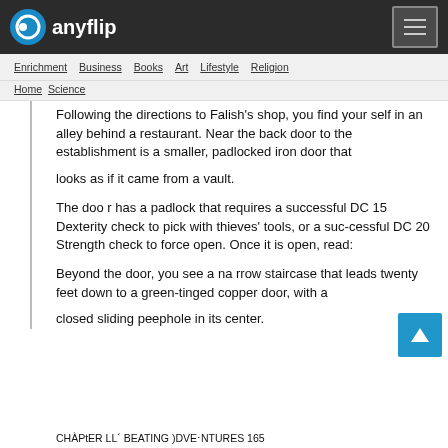anyflip
Enrichment  Business  Books  Art  Lifestyle  Religion
Home  Science
Following the directions to Falish's shop, you find yourself in an alley behind a restaurant. Near the back door to the establishment is a smaller, padlocked iron door that looks as if it came from a vault.
The doo r has a padlock that requires a successful DC 15 Dexterity check to pick with thieves' tools, or a successful DC 20 Strength check to force open. Once it is open, read:
Beyond the door, you see a na rrow staircase that leads twenty feet down to a green-tinged copper door, with a closed sliding peephole in its center.
CHÀPtER LL´ BEATING )DVE⋅NTURES 165